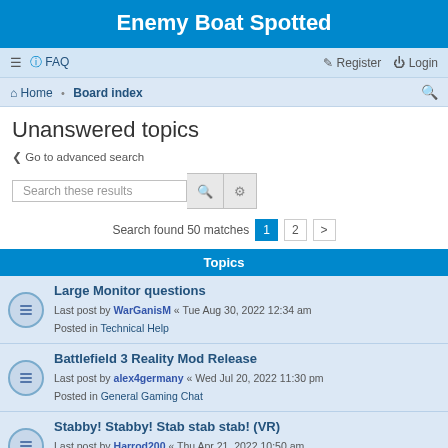Enemy Boat Spotted
☰  FAQ    Register  Login
Home · Board index
Unanswered topics
< Go to advanced search
Search these results
Search found 50 matches  1  2  >
Topics
Large Monitor questions
Last post by WarGanisM « Tue Aug 30, 2022 12:34 am
Posted in Technical Help
Battlefield 3 Reality Mod Release
Last post by alex4germany « Wed Jul 20, 2022 11:30 pm
Posted in General Gaming Chat
Stabby! Stabby! Stab stab stab! (VR)
Last post by Harrod200 « Thu Apr 21, 2022 10:50 am
Posted in General Gaming Chat
Game News
Last post by ...